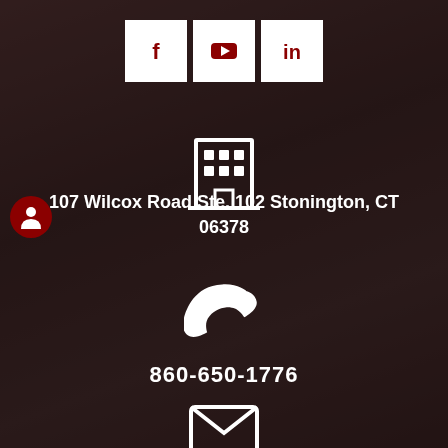[Figure (infographic): Social media icons row: Facebook (f), YouTube (play button), LinkedIn (in) — each in a white square box]
[Figure (infographic): Building/office icon in white outline style]
[Figure (infographic): Red circle with white person/user icon]
107 Wilcox Road Ste. 102 Stonington, CT 06378
[Figure (infographic): White telephone/phone handset icon]
860-650-1776
[Figure (infographic): White envelope/email icon partially visible at bottom]